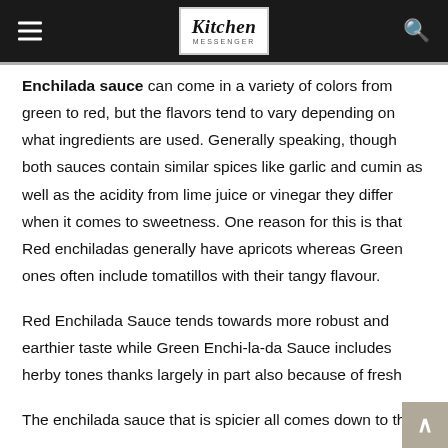Kitchen Messenger
Enchilada sauce can come in a variety of colors from green to red, but the flavors tend to vary depending on what ingredients are used. Generally speaking, though both sauces contain similar spices like garlic and cumin as well as the acidity from lime juice or vinegar they differ when it comes to sweetness. One reason for this is that Red enchiladas generally have apricots whereas Green ones often include tomatillos with their tangy flavour.
Red Enchilada Sauce tends towards more robust and earthier taste while Green Enchi-la-da Sauce includes herby tones thanks largely in part also because of fresh
The enchilada sauce that is spicier all comes down to the chilli. If...